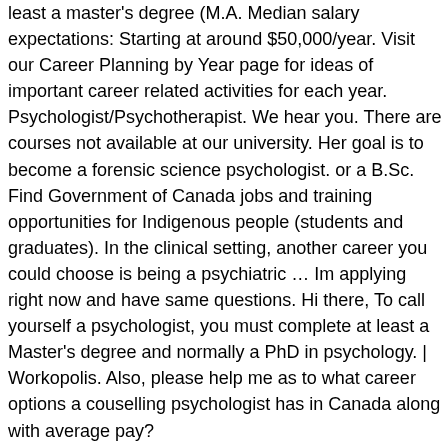least a master's degree (M.A. Median salary expectations: Starting at around $50,000/year. Visit our Career Planning by Year page for ideas of important career related activities for each year. Psychologist/Psychotherapist. We hear you. There are courses not available at our university. Her goal is to become a forensic science psychologist. or a B.Sc. Find Government of Canada jobs and training opportunities for Indigenous people (students and graduates). In the clinical setting, another career you could choose is being a psychiatric … Im applying right now and have same questions. Hi there, To call yourself a psychologist, you must complete at least a Master's degree and normally a PhD in psychology. | Workopolis. Also, please help me as to what career options a couselling psychologist has in Canada along with average pay? http://www.cic.gc.ca/english/information/applications/work.asp, hi, I am currently in my second of 3 years of the CYW program at George Brown College in Toronto, ON and have my sights set on a Forensic Psychology Specialist degree from the